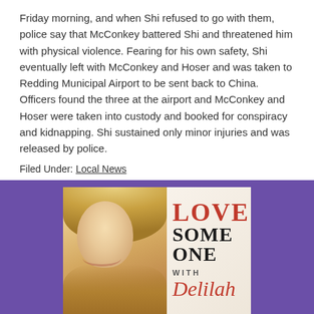Friday morning, and when Shi refused to go with them, police say that McConkey battered Shi and threatened him with physical violence. Fearing for his own safety, Shi eventually left with McConkey and Hoser and was taken to Redding Municipal Airport to be sent back to China. Officers found the three at the airport and McConkey and Hoser were taken into custody and booked for conspiracy and kidnapping. Shi sustained only minor injuries and was released by police.
Filed Under: Local News
[Figure (illustration): Advertisement for 'Love Someone with Delilah' radio show. Shows a smiling blonde woman on the left side with text 'LOVE SOME ONE with Delilah' on the right in red and black fonts, on a warm beige background. The ad is displayed on a purple background.]